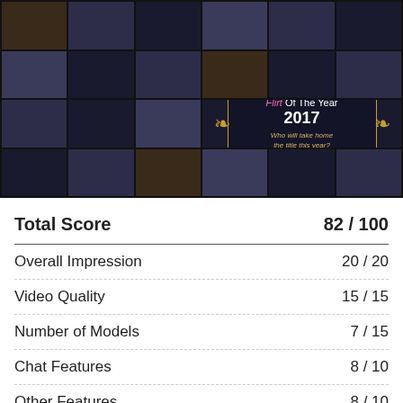[Figure (photo): Grid of male model photos from a cam/chat website, with a 'Flirt Of The Year 2017' overlay banner in the center-right area. Photos arranged in 4 rows of 6 cells.]
| Category | Score |
| --- | --- |
| Total Score | 82 / 100 |
| Overall Impression | 20 / 20 |
| Video Quality | 15 / 15 |
| Number of Models | 7 / 15 |
| Chat Features | 8 / 10 |
| Other Features | 8 / 10 |
| Site Usability | 9 / 10 |
| Value | 15 / 20 |